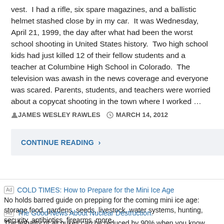vest. I had a rifle, six spare magazines, and a ballistic helmet stashed close by in my car. It was Wednesday, April 21, 1999, the day after what had been the worst school shooting in United States history. Two high school kids had just killed 12 of their fellow students and a teacher at Columbine High School in Colorado. The television was awash in the news coverage and everyone was scared. Parents, students, and teachers were worried about a copycat shooting in the town where I worked …
JAMES WESLEY RAWLES   MARCH 14, 2012
CONTINUE READING ›
Ad  COLD TIMES: How to Prepare for the Mini Ice Age
No holds barred guide on prepping for the coming mini ice age: storage food, gardens, seeds, livestock, water systems, hunting, security, antibiotics, firearms, more.
Ad  The Good News About Nuclear Destruction.
The lethality of all nukes can be reduced by 90% when you know beforehand what to do and not do.